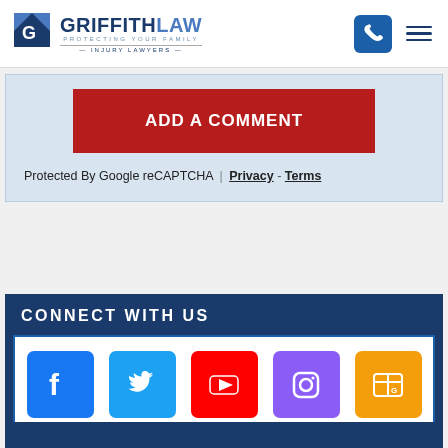[Figure (logo): Griffith Law - Protecting Your Family Injury Lawyers logo with blue shield/G icon]
ADD A COMMENT
Protected By Google reCAPTCHA | Privacy - Terms
CONNECT WITH US
[Figure (infographic): Social media icons: Facebook (blue), Twitter (light blue), YouTube (red), Instagram (purple), Google My Business (yellow)]